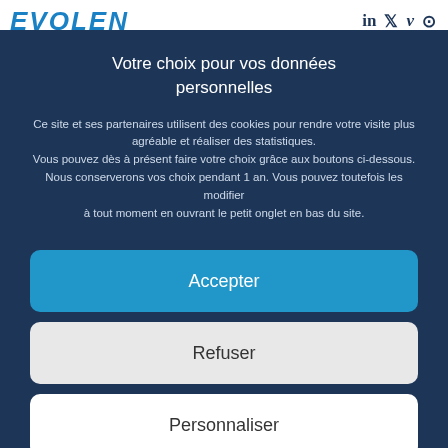[Figure (logo): EVOLEN logo in blue italic bold text, top left]
[Figure (infographic): Social media icons: LinkedIn, Twitter, Vimeo, Instagram in top right]
Votre choix pour vos données personnelles
Ce site et ses partenaires utilisent des cookies pour rendre votre visite plus agréable et réaliser des statistiques. Vous pouvez dès à présent faire votre choix grâce aux boutons ci-dessous. Nous conserverons vos choix pendant 1 an. Vous pouvez toutefois les modifier à tout moment en ouvrant le petit onglet en bas du site.
Accepter
Refuser
Personnaliser
Mentions Légales   Mentions Légales